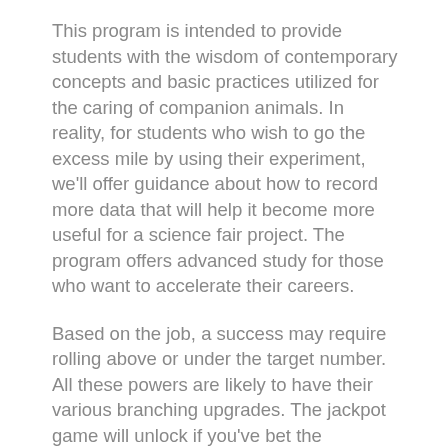This program is intended to provide students with the wisdom of contemporary concepts and basic practices utilized for the caring of companion animals. In reality, for students who wish to go the excess mile by using their experiment, we'll offer guidance about how to record more data that will help it become more useful for a science fair project. The program offers advanced study for those who want to accelerate their careers.
Based on the job, a success may require rolling above or under the target number. All these powers are likely to have their various branching upgrades. The jackpot game will unlock if you've bet the maximum and you'll need to decide on the right box on a map to reveal the progressive jackpot you could have won.
It is a favorite entry page for the website. This fan theory is discussed all over the net, but a very good illustration is this lengthy thread on the official Destiny forums. Don't hesitate to offer it in the shape of an editorial.